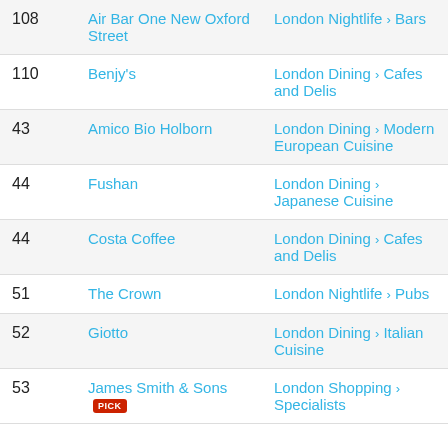| # | Name | Category |
| --- | --- | --- |
| 108 | Air Bar One New Oxford Street | London Nightlife > Bars |
| 110 | Benjy's | London Dining > Cafes and Delis |
| 43 | Amico Bio Holborn | London Dining > Modern European Cuisine |
| 44 | Fushan | London Dining > Japanese Cuisine |
| 44 | Costa Coffee | London Dining > Cafes and Delis |
| 51 | The Crown | London Nightlife > Pubs |
| 52 | Giotto | London Dining > Italian Cuisine |
| 53 | James Smith & Sons [PICK] | London Shopping > Specialists |